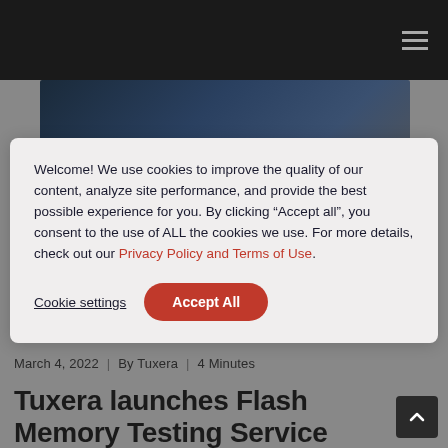Navigation header bar
[Figure (photo): Dark blue/teal hero banner image]
Welcome! We use cookies to improve the quality of our content, analyze site performance, and provide the best possible experience for you. By clicking “Accept all”, you consent to the use of ALL the cookies we use. For more details, check out our Privacy Policy and Terms of Use.
Cookie settings | Accept All
March 4, 2022 | By Tuxera | 4 Minutes
Tuxera launches Flash Memory Testing Service